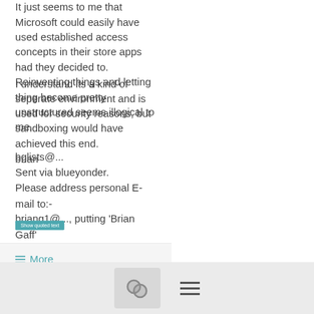It just seems to me that Microsoft could easily have used established access concepts in their store apps had they decided to. Reinventing things and letting thing become pretty unstructured seems illogical to me.
I understand its a kind of seperate environment and is used for security reasons, but sandboxing would have achieved this end. brian
bglists@...
Sent via blueyonder.
Please address personal E-mail to:-
briang1@..., putting 'Brian Gaff'
in the display name field.
Show quoted text
≡ More
Re: I take it there have been no improvements to the flawed espeak ng in 2017 42